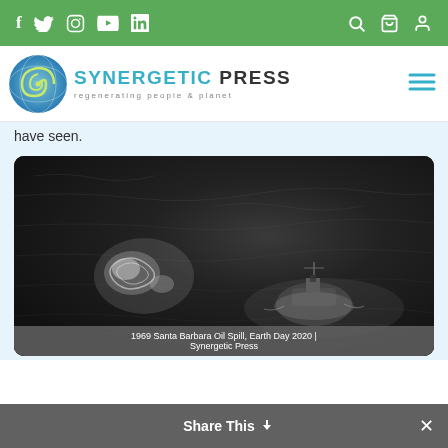Social media icons: f, Twitter, Instagram, YouTube, LinkedIn, search, cart, user
[Figure (logo): Synergetic Press logo with spiral nautilus shell graphic and text 'SYNERGETIC PRESS - regenerating people & planet']
have seen.
[Figure (photo): Black and white aerial photograph of the 1969 Santa Barbara Oil Spill showing a ship on dark ocean water with oil slicks visible]
1969 Santa Barbara Oil Spill, Earth Day 2020 | Synergetic Press
Share This